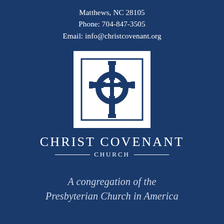Matthews, NC 28105
Phone: 704-847-3505
Email: info@christcovenant.org
[Figure (logo): Christ Covenant Church logo: a white square containing a dark blue Celtic cross with a circle at the intersection, surrounded by a white border with a dark blue outer border.]
CHRIST COVENANT CHURCH
A congregation of the Presbyterian Church in America